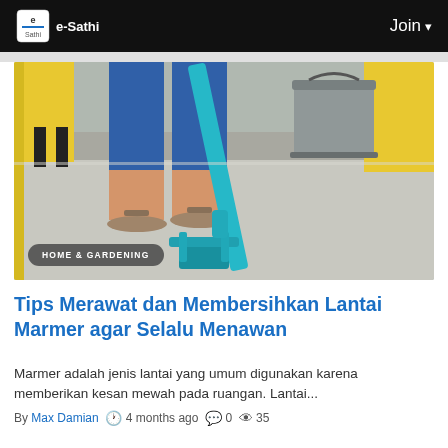e-Sathi | Join
[Figure (photo): Person mopping a floor with a teal/turquoise mop, wearing sandals and blue jeans, with a gray metal bucket in the background and yellow furniture visible]
HOME & GARDENING
Tips Merawat dan Membersihkan Lantai Marmer agar Selalu Menawan
Marmer adalah jenis lantai yang umum digunakan karena memberikan kesan mewah pada ruangan. Lantai...
By Max Damian  4 months ago  0  35